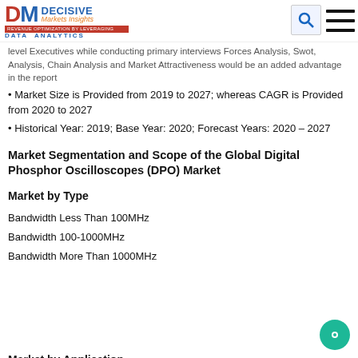Decisive Markets Insights
level Executives while conducting primary interviews Forces Analysis, Swot, Analysis, Chain Analysis and Market Attractiveness would be an added advantage in the report
Market Size is Provided from 2019 to 2027; whereas CAGR is Provided from 2020 to 2027
Historical Year: 2019; Base Year: 2020; Forecast Years: 2020 – 2027
Market Segmentation and Scope of the Global Digital Phosphor Oscilloscopes (DPO) Market
Market by Type
Bandwidth Less Than 100MHz
Bandwidth 100-1000MHz
Bandwidth More Than 1000MHz
Market by Application